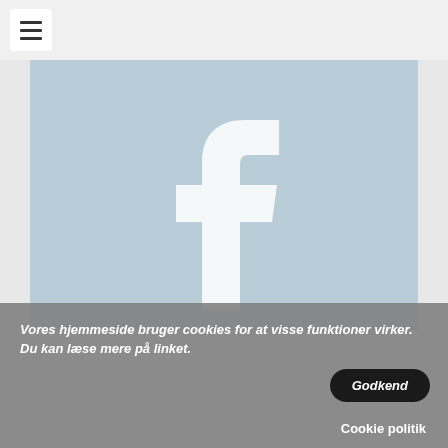[Figure (logo): Hamburger menu button (three horizontal lines) in a white rounded square, on a light gray top bar]
[Figure (illustration): Facebook logo placeholder image: light blue-gray background with white Facebook 'f' logo centered]
Vores hjemmeside bruger cookies for at visse funktioner virker. Du kan læse mere på linket.
Godkend
Cookie politik